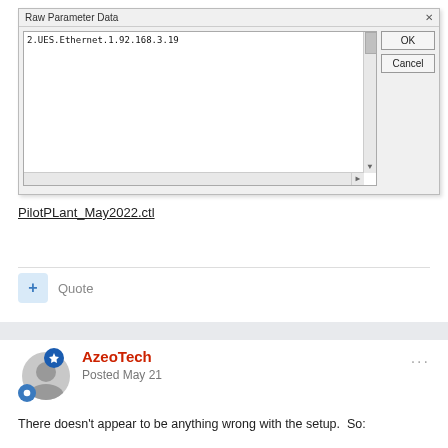[Figure (screenshot): Windows dialog box titled 'Raw Parameter Data' showing a text area with content '2.UES.Ethernet.1.92.168.3.19' and two buttons: 'OK' and 'Cancel']
PilotPLant_May2022.ctl
+ Quote
AzeoTech
Posted May 21
There doesn't appear to be anything wrong with the setup.  So: